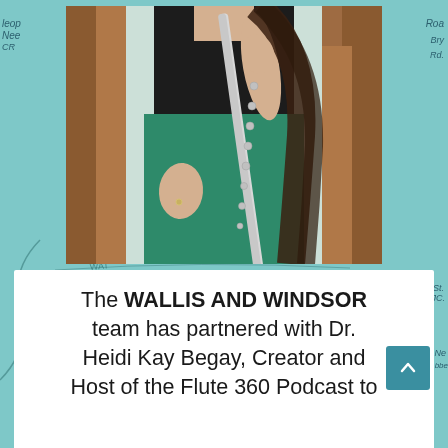[Figure (photo): A woman holding a silver flute, wearing a black top and teal/green skirt, standing between two trees. The background outside the photo frame shows a teal-colored map.]
The WALLIS AND WINDSOR team has partnered with Dr. Heidi Kay Begay, Creator and Host of the Flute 360 Podcast to